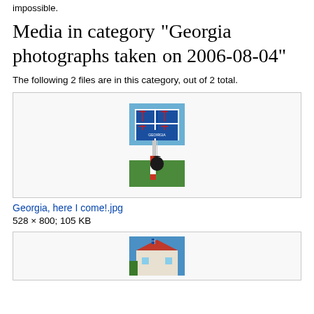impossible.
Media in category "Georgia photographs taken on 2006-08-04"
The following 2 files are in this category, out of 2 total.
[Figure (photo): Photograph of a Georgia country sign with the Georgian flag cross symbol, a border marker pole in red and white, dark equipment/bag, and green grass background]
Georgia, here I come!.jpg
528 × 800; 105 KB
[Figure (photo): Photograph of a building with red roof under blue sky, with trees and a small Georgian flag]